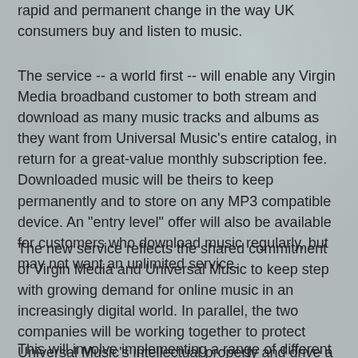rapid and permanent change in the way UK consumers buy and listen to music.
The service -- a world first -- will enable any Virgin Media broadband customer to both stream and download as many music tracks and albums as they want from Universal Music's entire catalog, in return for a great-value monthly subscription fee. Downloaded music will be theirs to keep permanently and to store on any MP3 compatible device. An "entry level" offer will also be available for customers who download music regularly, but may not want an unlimited service.
The new service reflects the shared commitment of Virgin Media and Universal Music to keep step with growing demand for online music in an increasingly digital world. In parallel, the two companies will be working together to protect Universal Music's intellectual property and drive a material reduction in the unauthorized distribution of its repertoire across Virgin Media's network.
This will involve implementing a range of different strategies